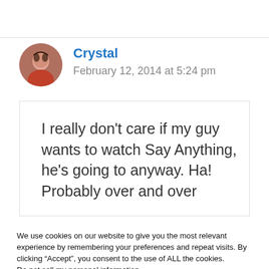Crystal
February 12, 2014 at 5:24 pm
I really don’t care if my guy wants to watch Say Anything, he’s going to anyway. Ha! Probably over and over
We use cookies on our website to give you the most relevant experience by remembering your preferences and repeat visits. By clicking “Accept”, you consent to the use of ALL the cookies. Do not sell my personal information.
Settings
Accept